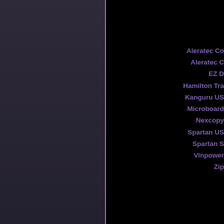Aleratec Co
Aleratec C
EZ D
Hamilton Tra
Kanguru US
Microboard
Nexcopy
Spartan US
Spartan S
Vinpower
Zip
Duplicators are also available for d LightScribe, Memory Cards and Hard arrangements, which can include cross we truly live in a m
...on eBay
[wordbay]USB +(Dup
(CD* copier DVD HDD HD Blu-R